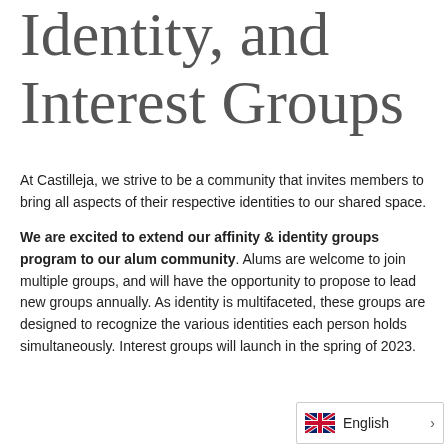Identity, and Interest Groups
At Castilleja, we strive to be a community that invites members to bring all aspects of their respective identities to our shared space.
We are excited to extend our affinity & identity groups program to our alum community. Alums are welcome to join multiple groups, and will have the opportunity to propose to lead new groups annually. As identity is multifaceted, these groups are designed to recognize the various identities each person holds simultaneously. Interest groups will launch in the spring of 2023.
[Figure (other): Language selector widget showing UK flag and 'English' label with a right arrow chevron]